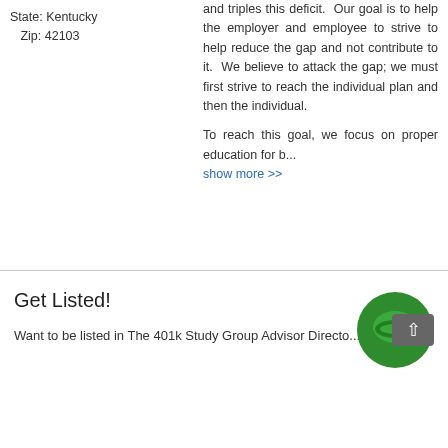State: Kentucky
Zip: 42103
and triples this deficit. Our goal is to help the employer and employee to strive to help reduce the gap and not contribute to it. We believe to attack the gap; we must first strive to reach the individual plan and then the individual.

To reach this goal, we focus on proper education for b...
show more >>
Get Listed!
Want to be listed in The 401k Study Group Advisor Directo...